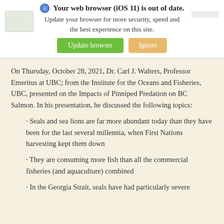[Figure (screenshot): Browser update warning banner with 'Your web browser (iOS 11) is out of date.' message, Update browser (green) and Ignore (tan) buttons]
On Thursday, October 28, 2021, Dr. Carl J. Walters, Professor Emeritus at UBC; from the Institute for the Oceans and Fisheries, UBC, presented on the Impacts of Pinniped Predation on BC Salmon. In his presentation, he discussed the following topics:
· Seals and sea lions are far more abundant today than they have been for the last several millennia, when First Nations harvesting kept them down
· They are consuming more fish than all the commercial fisheries (and aquaculture) combined
· In the Georgia Strait, seals have had particularly severe